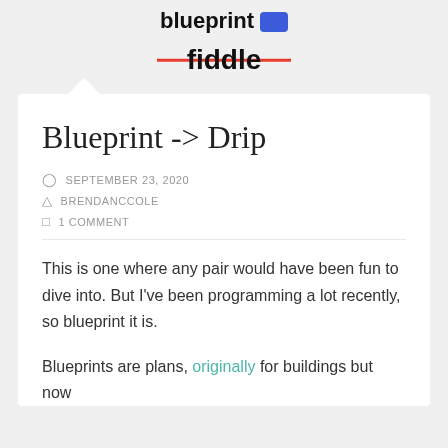blueprint [logo] fiddle
Blueprint -> Drip
SEPTEMBER 23, 2020
BRENDANCCOLE
1 COMMENT
This is one where any pair would have been fun to dive into. But I've been programming a lot recently, so blueprint it is.
Blueprints are plans, originally for buildings but now